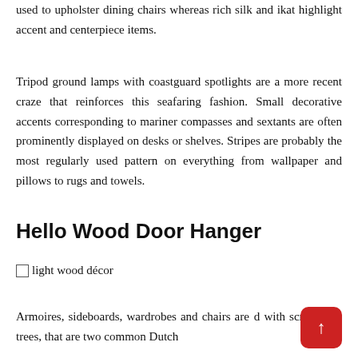used to upholster dining chairs whereas rich silk and ikat highlight accent and centerpiece items.
Tripod ground lamps with coastguard spotlights are a more recent craze that reinforces this seafaring fashion. Small decorative accents corresponding to mariner compasses and sextants are often prominently displayed on desks or shelves. Stripes are probably the most regularly used pattern on everything from wallpaper and pillows to rugs and towels.
Hello Wood Door Hanger
light wood décor
Armoires, sideboards, wardrobes and chairs are decorated with scrolls and trees, that are two common Dutch